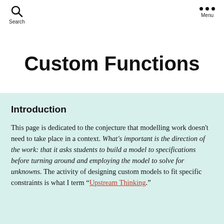Search   Menu
Custom Functions
Introduction
This page is dedicated to the conjecture that modelling work doesn't need to take place in a context. What's important is the direction of the work: that it asks students to build a model to specifications before turning around and employing the model to solve for unknowns. The activity of designing custom models to fit specific constraints is what I term “Upstream Thinking.”